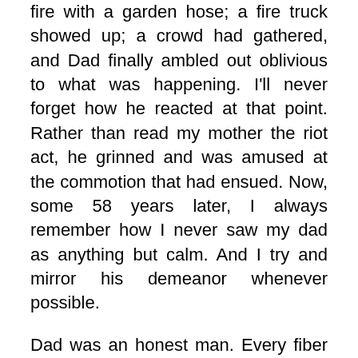fire with a garden hose; a fire truck showed up; a crowd had gathered, and Dad finally ambled out oblivious to what was happening. I'll never forget how he reacted at that point. Rather than read my mother the riot act, he grinned and was amused at the commotion that had ensued. Now, some 58 years later, I always remember how I never saw my dad as anything but calm. And I try and mirror his demeanor whenever possible.
Dad was an honest man. Every fiber of his being was honest. We were traveling as a family on a vacation and stopped for fuel. It was a full-service gas station – there was no such thing as self-serve gas in the 1950s and early 1960s. After the gas was pumped, there was the normal scramble of getting kids back in the car from a restroom break; taking the dog to relieve itself and making certain the trailer was still hitched properly. A few miles down the